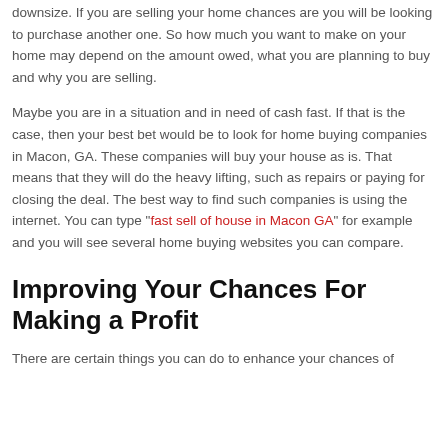downsize. If you are selling your home chances are you will be looking to purchase another one. So how much you want to make on your home may depend on the amount owed, what you are planning to buy and why you are selling.
Maybe you are in a situation and in need of cash fast. If that is the case, then your best bet would be to look for home buying companies in Macon, GA. These companies will buy your house as is. That means that they will do the heavy lifting, such as repairs or paying for closing the deal. The best way to find such companies is using the internet. You can type "fast sell of house in Macon GA" for example and you will see several home buying websites you can compare.
Improving Your Chances For Making a Profit
There are certain things you can do to enhance your chances of